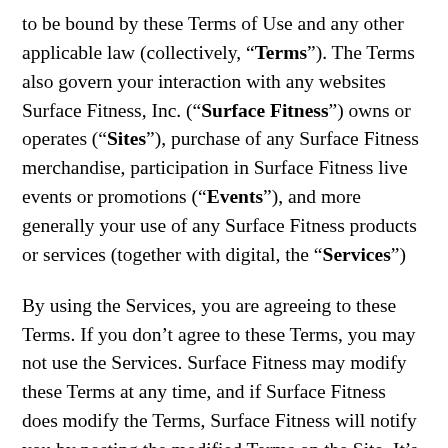to be bound by these Terms of Use and any other applicable law (collectively, "Terms"). The Terms also govern your interaction with any websites Surface Fitness, Inc. ("Surface Fitness") owns or operates ("Sites"), purchase of any Surface Fitness merchandise, participation in Surface Fitness live events or promotions ("Events"), and more generally your use of any Surface Fitness products or services (together with digital, the "Services")
By using the Services, you are agreeing to these Terms. If you don't agree to these Terms, you may not use the Services. Surface Fitness may modify these Terms at any time, and if Surface Fitness does modify the Terms, Surface Fitness will notify you by posting the modified Terms on the Site. It's important that you review any modified Terms before you continue using the Services. If you continue to use the Services, you are bound by the modified Terms. If you don't agree to be bound by the modified Terms, then you may not use the Services.